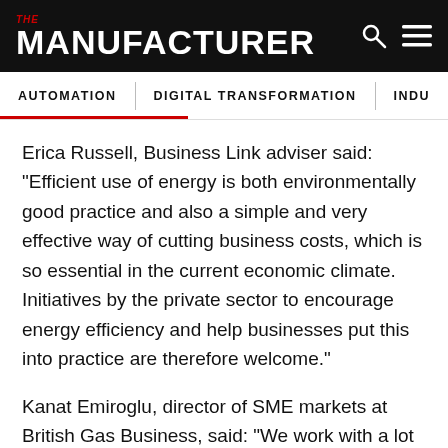THE MANUFACTURER
AUTOMATION   DIGITAL TRANSFORMATION   INDU
Erica Russell, Business Link adviser said: “Efficient use of energy is both environmentally good practice and also a simple and very effective way of cutting business costs, which is so essential in the current economic climate. Initiatives by the private sector to encourage energy efficiency and help businesses put this into practice are therefore welcome.”
Kanat Emiroglu, director of SME markets at British Gas Business, said: “We work with a lot of small manufacturing businesses throughout the country – we’ve developed some tips on how organisations can become more energy efficient, which we hope will help them weather